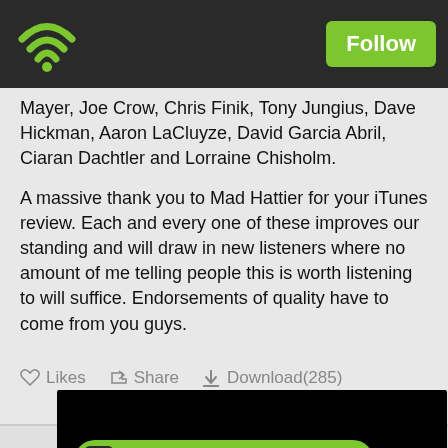Follow
Mayer, Joe Crow, Chris Finik, Tony Jungius, Dave Hickman, Aaron LaCluyze, David Garcia Abril, Ciaran Dachtler and Lorraine Chisholm.
A massive thank you to Mad Hattier for your iTunes review. Each and every one of these improves our standing and will draw in new listeners where no amount of me telling people this is worth listening to will suffice. Endorsements of quality have to come from you guys.
Likes  Share  Download(285)
[Figure (screenshot): Black video thumbnail area with Podbean app banner at the bottom showing wifi logo and 'Play this podcast on Podbean App' text on green pill-shaped button]